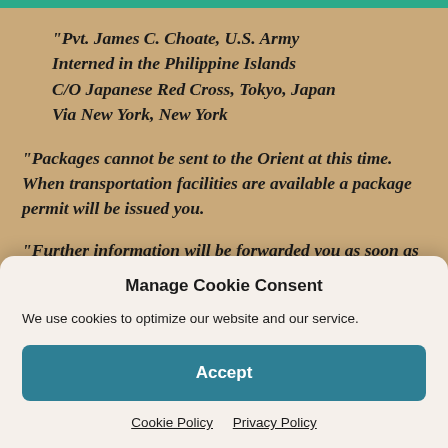“Pvt. James C. Choate, U.S. Army Interned in the Philippine Islands C/O Japanese Red Cross, Tokyo, Japan Via New York, New York
“Packages cannot be sent to the Orient at this time. When transportation facilities are available a package permit will be issued you.
“Further information will be forwarded you as soon as it is received.
Manage Cookie Consent
We use cookies to optimize our website and our service.
Accept
Cookie Policy   Privacy Policy